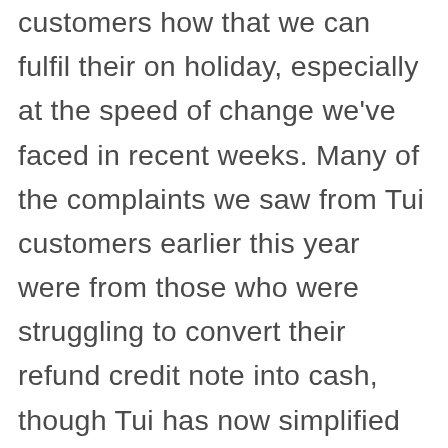customers how that we can fulfil their on holiday, especially at the speed of change we've faced in recent weeks. Many of the complaints we saw from Tui customers earlier this year were from those who were struggling to convert their refund credit note into cash, though Tui has now simplified the process. Unique tool uses probability to estimate winnings. Once you have received a refund credit code, you can apply for a cash refund online. Affected holidaymakers will receive a refund credit for the full value of the holiday. To speak to the team, please call 0203 451 2688. They will now be able to apply for a cash refund through an online form. Please read